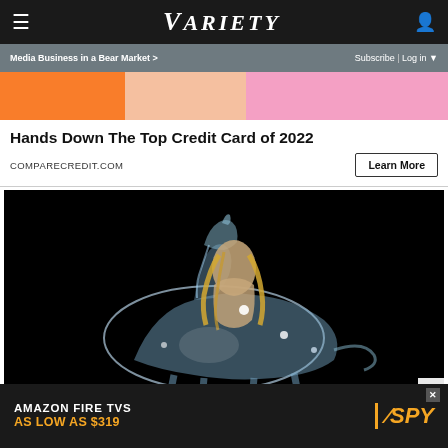☰  VARIETY  👤
Media Business in a Bear Market >   Subscribe | Log in ▼
[Figure (photo): Colorful top banner image strip with orange, peach and pink tones]
Hands Down The Top Credit Card of 2022
COMPARECREDIT.COM
Learn More
[Figure (photo): Beyoncé in a crystal bodysuit riding a translucent/glass horse against a black background — album art for Renaissance]
AMAZON FIRE TVS AS LOW AS $319
[Figure (logo): SPY logo in orange with diagonal slash, on dark background]